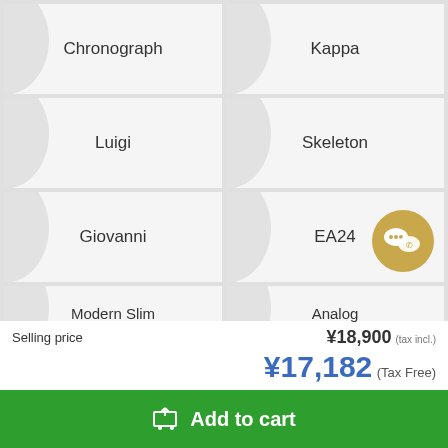[Figure (other): Product category grid showing watch collection names: Chronograph, Kappa, Luigi, Skeleton, Giovanni, EA24, Modern Slim, Analog]
Selling price
¥18,900 (tax incl.)
¥17,182 (Tax Free)
Add to cart